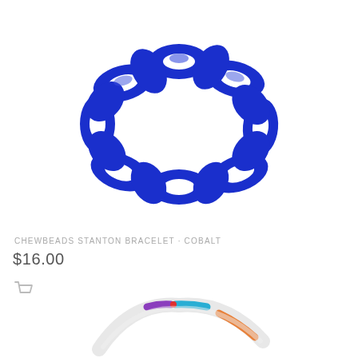[Figure (photo): A cobalt blue chain-link style silicone bracelet photographed on white background, viewed from above showing the interlocking chain links.]
CHEWBEADS STANTON BRACELET · COBALT
$16.00
[Figure (illustration): Shopping cart icon in light gray]
[Figure (photo): A white silicone teething toy/bracelet with purple, blue, and multicolor accents, partially visible at the bottom of the page.]